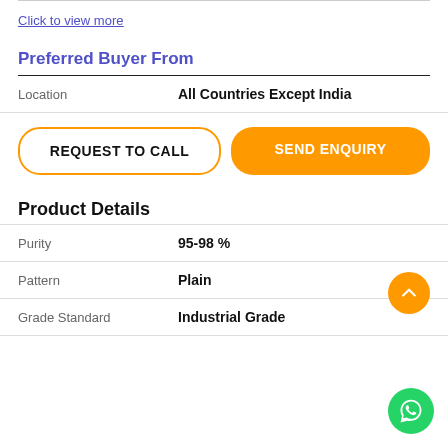Click to view more
Preferred Buyer From
|  |  |
| --- | --- |
| Location | All Countries Except India |
REQUEST TO CALL
SEND ENQUIRY
Product Details
| Purity | 95-98 % |
| Pattern | Plain |
| Grade Standard | Industrial Grade |